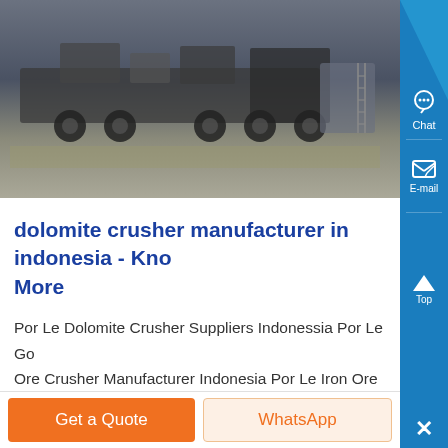[Figure (photo): Photograph of heavy industrial mining crusher machinery on a truck/trailer, dark grayish tones, industrial setting]
dolomite crusher manufacturer in indonesia - Know More
Por Le Dolomite Crusher Suppliers Indonessia Por Le Gold Ore Crusher Manufacturer Indonesia Por Le Iron Ore Impact Crusher Suppliers Indonessia Por le Iron Ore Crusher Unit Dipekerjakan Di India gold ore cone crusher for sale in nigeria por le gold ore cone iro ore por le crusher price in
[Figure (screenshot): Right sidebar with Chat and E-mail buttons and Top/close controls on blue background]
Get a Quote
WhatsApp